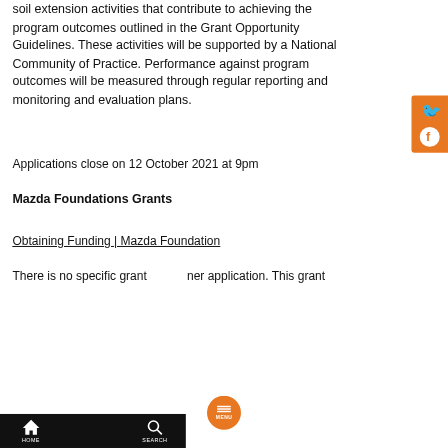soil extension activities that contribute to achieving the program outcomes outlined in the Grant Opportunity Guidelines. These activities will be supported by a National Community of Practice. Performance against program outcomes will be measured through regular reporting and monitoring and evaluation plans.
Applications close on 12 October 2021 at 9pm
Mazda Foundations Grants
Obtaining Funding | Mazda Foundation
There is no specific grant per application. This grant